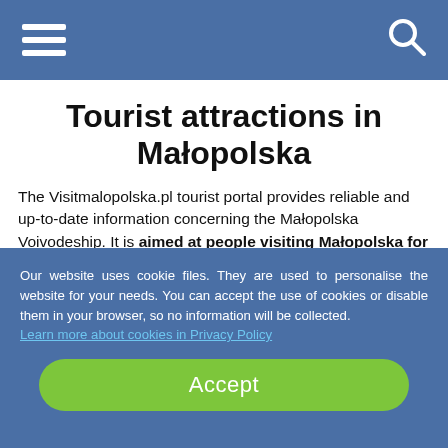Navigation bar with hamburger menu and search icon
Tourist attractions in Małopolska
The Visitmalopolska.pl tourist portal provides reliable and up-to-date information concerning the Małopolska Voivodeship. It is aimed at people visiting Małopolska for the first time and residents looking for information about current events in the region and tourist attractions in their neighbourhood. Interesting information can be found here
Our website uses cookie files. They are used to personalise the website for your needs. You can accept the use of cookies or disable them in your browser, so no information will be collected. Learn more about cookies in Privacy Policy
Accept